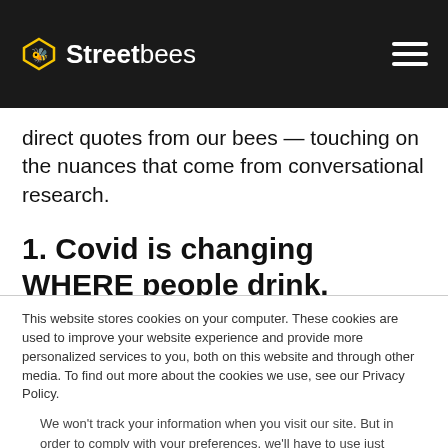Streetbees
direct quotes from our bees — touching on the nuances that come from conversational research.
1. Covid is changing WHERE people drink.
This website stores cookies on your computer. These cookies are used to improve your website experience and provide more personalized services to you, both on this website and through other media. To find out more about the cookies we use, see our Privacy Policy.
We won't track your information when you visit our site. But in order to comply with your preferences, we'll have to use just one tiny cookie so that you're not asked to make this choice again.